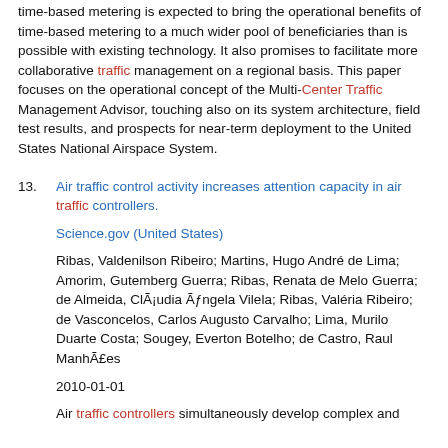time-based metering is expected to bring the operational benefits of time-based metering to a much wider pool of beneficiaries than is possible with existing technology. It also promises to facilitate more collaborative traffic management on a regional basis. This paper focuses on the operational concept of the Multi-Center Traffic Management Advisor, touching also on its system architecture, field test results, and prospects for near-term deployment to the United States National Airspace System.
13. Air traffic control activity increases attention capacity in air traffic controllers.
Science.gov (United States)
Ribas, Valdenilson Ribeiro; Martins, Hugo André de Lima; Amorim, Gutemberg Guerra; Ribas, Renata de Melo Guerra; de Almeida, Cláudia Ângela Vilela; Ribas, Valéria Ribeiro; de Vasconcelos, Carlos Augusto Carvalho; Lima, Murilo Duarte Costa; Sougey, Everton Botelho; de Castro, Raul Manhães
2010-01-01
Air traffic controllers simultaneously develop complex and